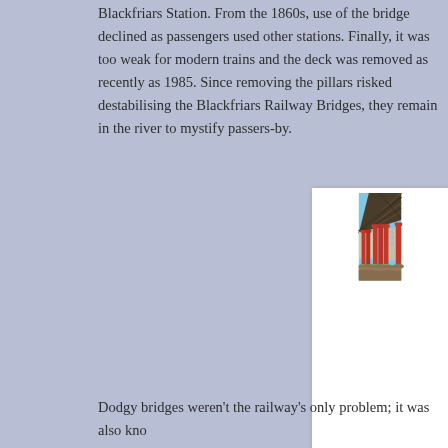Blackfriars Station. From the 1860s, use of the bridge declined as passengers used other stations. Finally, it was too weak for modern trains and the deck was removed as recently as 1985. Since removing the pillars risked destabilising the neighbouring Blackfriars Railway Bridges, they remain in the river to mystify passers-by.
[Figure (photo): Photograph taken from under Blackfriars Railway Bridge looking toward red cast-iron columns/pillars standing in the River Thames, with the bridge structure visible overhead and buildings in the background on a clear blue-sky day.]
Dodgy bridges weren't the railway's only problem; it was also kno...